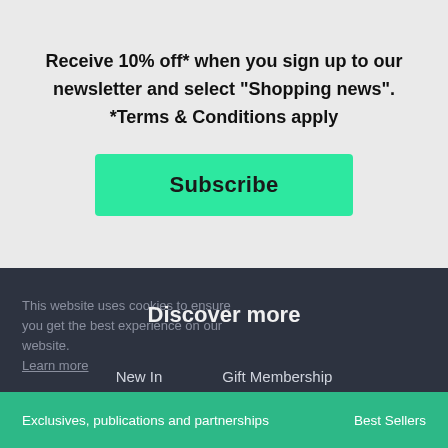Receive 10% off* when you sign up to our newsletter and select "Shopping news". *Terms & Conditions apply
Subscribe
This website uses cookies to ensure you get the best experience on our website. Learn more
Discover more
New In
Gift Membership
Exclusives, publications and partnerships    Best Sellers